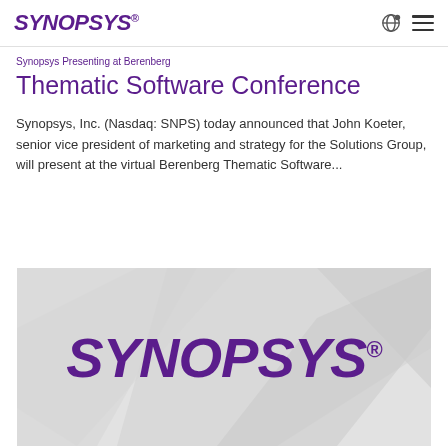SYNOPSYS®
Thematic Software Conference
Synopsys, Inc. (Nasdaq: SNPS) today announced that John Koeter, senior vice president of marketing and strategy for the Solutions Group, will present at the virtual Berenberg Thematic Software...
[Figure (logo): Synopsys logo on light grey geometric polygon background]